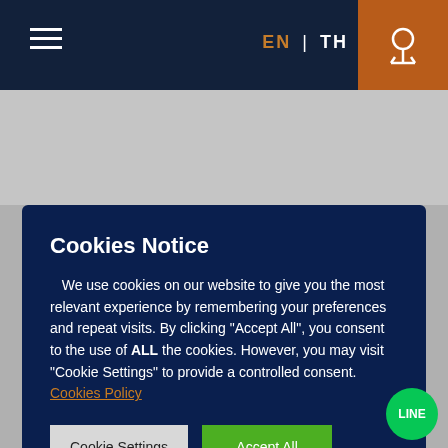EN | TH
Cookies Notice
We use cookies on our website to give you the most relevant experience by remembering your preferences and repeat visits. By clicking "Accept All", you consent to the use of ALL the cookies. However, you may visit "Cookie Settings" to provide a controlled consent. Cookies Policy
Cookie Settings
Accept All